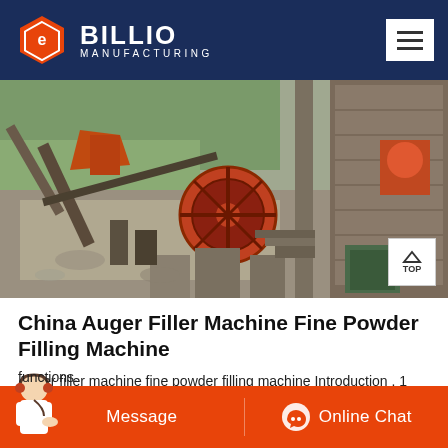BILLIO MANUFACTURING
[Figure (photo): Outdoor industrial quarry or mining site with large crushing/processing machinery including a large red flywheel, conveyor belts, and stone structures. Background shows green hillside and a brick building on the right.]
China Auger Filler Machine Fine Powder Filling Machine
Auger filler machine fine powder filling machine Introduction . 1 This is a automatic auger type can/bottles metering filling machine ,designed for functions.